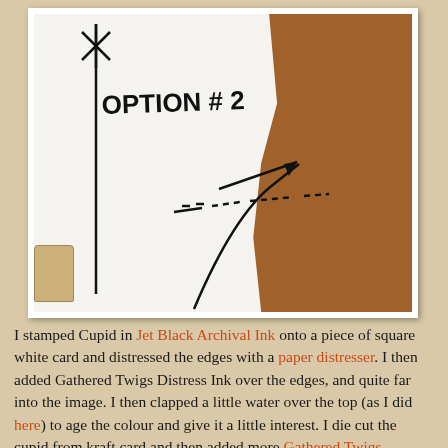[Figure (photo): Close-up photograph of a craft project showing a white card with 'OPTION #2' written on it in marker, with hand-drawn lines and arrows. The card is placed on brown kraft card. A wooden stamp or tool is visible at the bottom left.]
I stamped Cupid in Jet Black Archival Ink onto a piece of square white card and distressed the edges with a paper distresser. I then added Gathered Twigs Distress Ink over the edges, and quite far into the image. I then clapped a little water over the top (as I did here) to age the colour and give it a little interest. I die cut the cupid from kraft card and then added more Gathered Twigs Distress Ink over the edges before adhering him to the card. The image doesn't quite